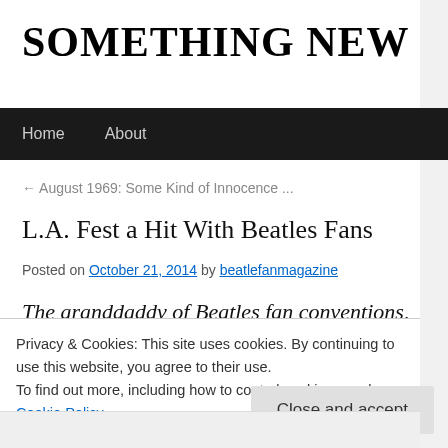SOMETHING NEW
Home   About
← August 1969: Some Kind of Innocence ...
L.A. Fest a Hit With Beatles Fans
Posted on October 21, 2014 by beatlefanmagazine
The aranddaddv of Beatles fan conventions,
Privacy & Cookies: This site uses cookies. By continuing to use this website, you agree to their use.
To find out more, including how to control cookies, see here:
Cookie Policy
Close and accept